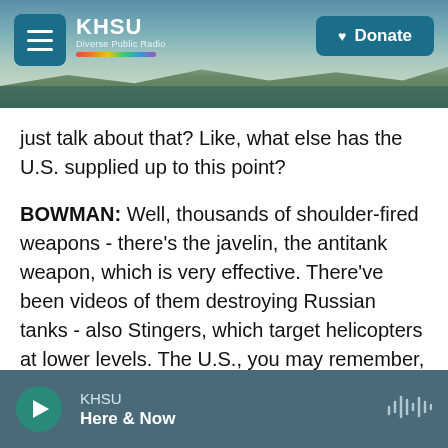[Figure (screenshot): KHSU public radio website header with coastal scenery background, hamburger menu button, KHSU logo with rainbow stripe, and Donate button]
just talk about that? Like, what else has the U.S. supplied up to this point?
BOWMAN: Well, thousands of shoulder-fired weapons - there's the javelin, the antitank weapon, which is very effective. There've been videos of them destroying Russian tanks - also Stingers, which target helicopters at lower levels. The U.S., you may remember, gave these to the Afghan insurgents back in the 1980s. And they devastated the Soviet military. Also, there's a drone called, get this, the Switchblade. It's just six pounds and can be carried...
KHSU Here & Now